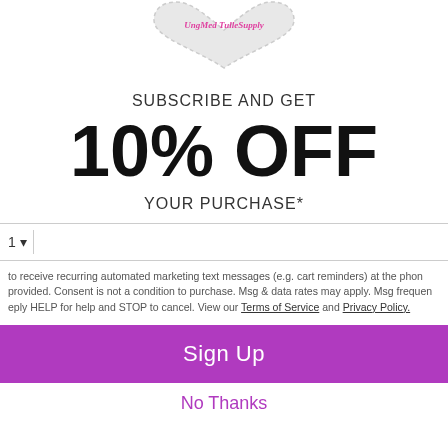[Figure (logo): Heart-shaped logo with dotted border and pink cursive text 'UngMed TulleSupply']
SUBSCRIBE AND GET
10% OFF
YOUR PURCHASE*
1 ▾  [phone input field]
to receive recurring automated marketing text messages (e.g. cart reminders) at the phone provided. Consent is not a condition to purchase. Msg & data rates may apply. Msg frequently. Reply HELP for help and STOP to cancel. View our Terms of Service and Privacy Policy.
Sign Up
No Thanks